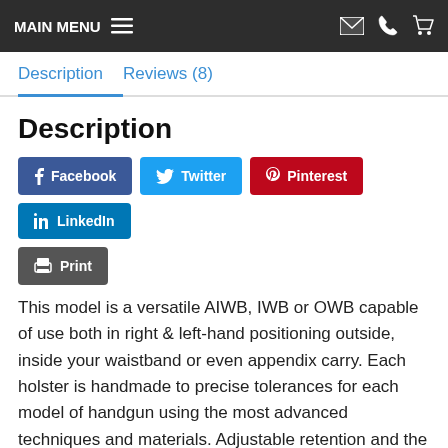MAIN MENU
Description   Reviews (8)
Description
This model is a versatile AIWB, IWB or OWB capable of use both in right & left-hand positioning outside, inside your waistband or even appendix carry. Each holster is handmade to precise tolerances for each model of handgun using the most advanced techniques and materials. Adjustable retention and the famous “audible click” makes each draw and re-holstering smooth and secure. All units feature a Comfort Carry Paddle for easy on and off. Includes a 1 ½” Belt Clip